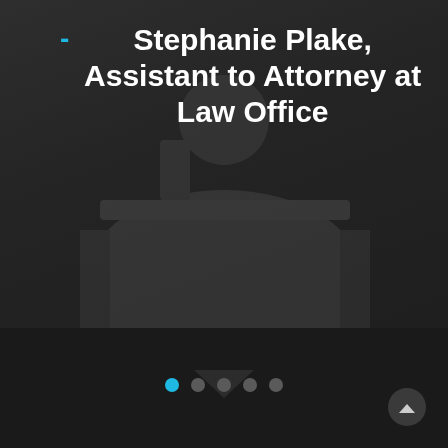[Figure (photo): Dark background with faint silhouette of a person at a desk, possibly in a law office setting]
- Stephanie Plake, Assistant to Attorney at Law Office
[Figure (other): Slide navigation dots: 5 dots, first one is blue/active, rest are gray]